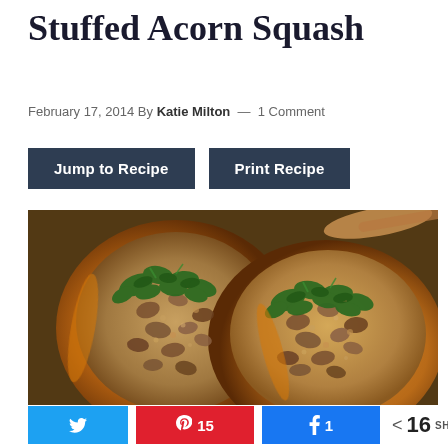Stuffed Acorn Squash
February 17, 2014 By Katie Milton — 1 Comment
Jump to Recipe   Print Recipe
[Figure (photo): Two halves of stuffed acorn squash filled with ground meat, grains, and topped with fresh chopped greens/kale, served on a dark baking tray with a wooden spoon visible in the background.]
Twitter share button  Pinterest 15  Facebook 1  < 16 SHARES